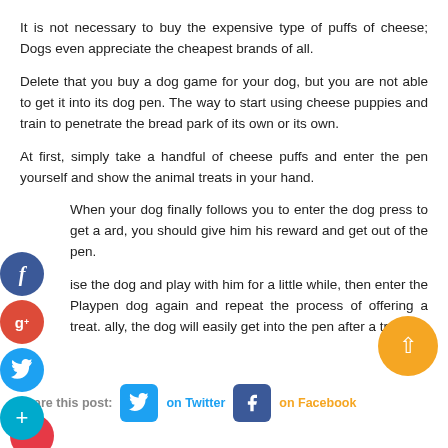It is not necessary to buy the expensive type of puffs of cheese; Dogs even appreciate the cheapest brands of all.
Delete that you buy a dog game for your dog, but you are not able to get it into its dog pen. The way to start using cheese puppies and train to penetrate the bread park of its own or its own.
At first, simply take a handful of cheese puffs and enter the pen yourself and show the animal treats in your hand.
When your dog finally follows you to enter the dog press to get a ard, you should give him his reward and get out of the pen.
ise the dog and play with him for a little while, then enter the Playpen dog again and repeat the process of offering a treat. ally, the dog will easily get into the pen after a treat.
Share this post: on Twitter on Facebook